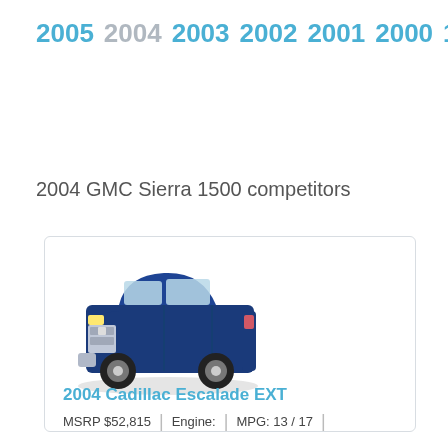2005 2004 2003 2002 2001 2000 1999
2004 GMC Sierra 1500 competitors
[Figure (photo): Blue 2004 Cadillac Escalade EXT SUV/truck, front three-quarter view]
2004 Cadillac Escalade EXT
MSRP $52,815 | Engine: | MPG: 13 / 17 |